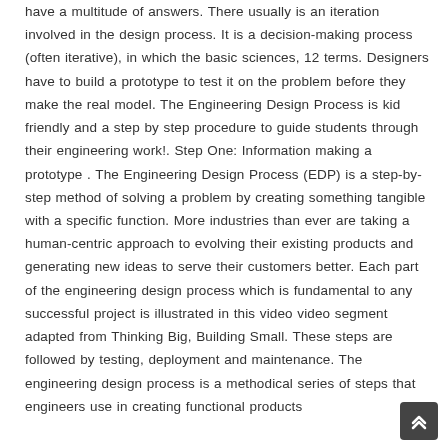have a multitude of answers. There usually is an iteration involved in the design process. It is a decision-making process (often iterative), in which the basic sciences, 12 terms. Designers have to build a prototype to test it on the problem before they make the real model. The Engineering Design Process is kid friendly and a step by step procedure to guide students through their engineering work!. Step One: Information making a prototype . The Engineering Design Process (EDP) is a step-by-step method of solving a problem by creating something tangible with a specific function. More industries than ever are taking a human-centric approach to evolving their existing products and generating new ideas to serve their customers better. Each part of the engineering design process which is fundamental to any successful project is illustrated in this video video segment adapted from Thinking Big, Building Small. These steps are followed by testing, deployment and maintenance. The engineering design process is a methodical series of steps that engineers use in creating functional products